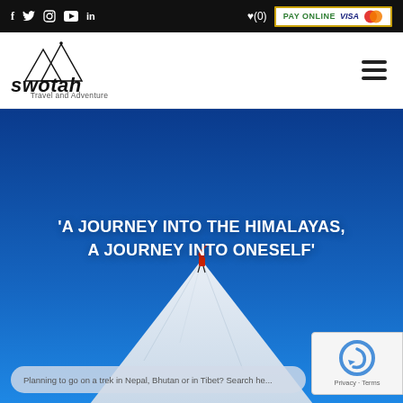Social icons: f, Twitter, Instagram, YouTube, in | Wishlist (0) | PAY ONLINE VISA Mastercard
[Figure (logo): Swotah Travel and Adventure logo with mountain graphic and tagline 'Travel and Adventure']
[Figure (photo): Hero image of a mountaineer standing on a snow-covered mountain peak against a vivid blue sky, with overlaid text: 'A JOURNEY INTO THE HIMALAYAS, A JOURNEY INTO ONESELF']
Planning to go on a trek in Nepal, Bhutan or in Tibet? Search he...